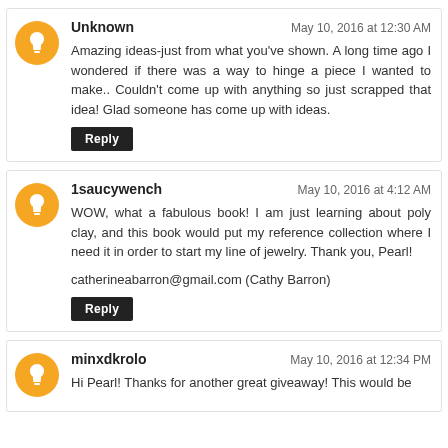Unknown — May 10, 2016 at 12:30 AM
Amazing ideas-just from what you've shown. A long time ago I wondered if there was a way to hinge a piece I wanted to make.. Couldn't come up with anything so just scrapped that idea! Glad someone has come up with ideas.
Reply
1saucywench — May 10, 2016 at 4:12 AM
WOW, what a fabulous book! I am just learning about poly clay, and this book would put my reference collection where I need it in order to start my line of jewelry. Thank you, Pearl!
catherineabarron@gmail.com (Cathy Barron)
Reply
minxdkrolo — May 10, 2016 at 12:34 PM
Hi Pearl! Thanks for another great giveaway! This would be